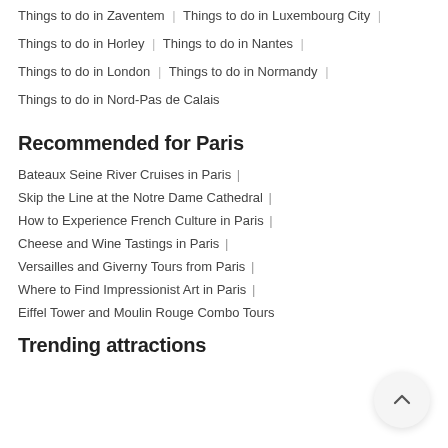Things to do in Zaventem | Things to do in Luxembourg City |
Things to do in Horley | Things to do in Nantes |
Things to do in London | Things to do in Normandy |
Things to do in Nord-Pas de Calais
Recommended for Paris
Bateaux Seine River Cruises in Paris |
Skip the Line at the Notre Dame Cathedral |
How to Experience French Culture in Paris |
Cheese and Wine Tastings in Paris |
Versailles and Giverny Tours from Paris |
Where to Find Impressionist Art in Paris |
Eiffel Tower and Moulin Rouge Combo Tours
Trending attractions